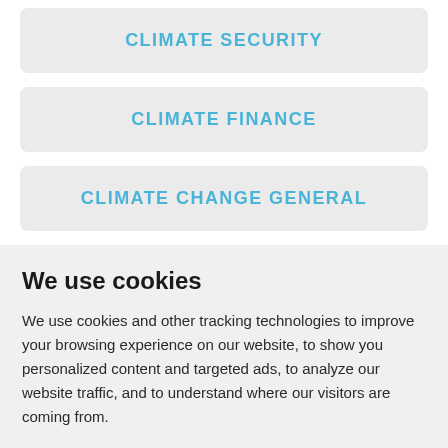CLIMATE SECURITY
CLIMATE FINANCE
CLIMATE CHANGE GENERAL
We use cookies
We use cookies and other tracking technologies to improve your browsing experience on our website, to show you personalized content and targeted ads, to analyze our website traffic, and to understand where our visitors are coming from.